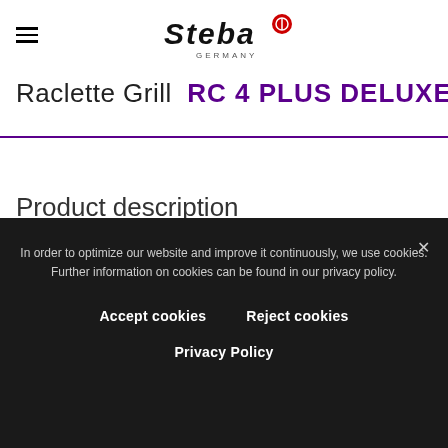Steba Germany
Raclette Grill  RC 4 PLUS DELUXE
Product description
In order to optimize our website and improve it continuously, we use cookies.
Further information on cookies can be found in our privacy policy.
Accept cookies
Reject cookies
Privacy Policy